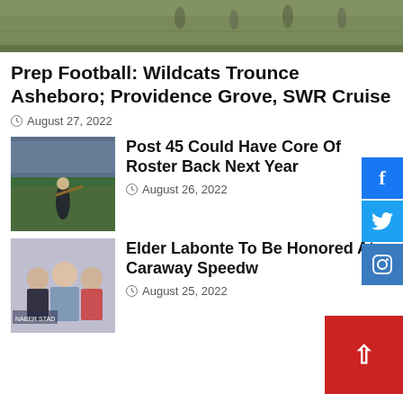[Figure (photo): Football field action photo at top of page]
Prep Football: Wildcats Trounce Asheboro; Providence Grove, SWR Cruise
August 27, 2022
[Figure (photo): Baseball batter swinging at a game]
Post 45 Could Have Core Of Roster Back Next Year
August 26, 2022
[Figure (photo): Three men posing for a photo, NASCAR related]
Elder Labonte To Be Honored At Caraway Speedway
August 25, 2022